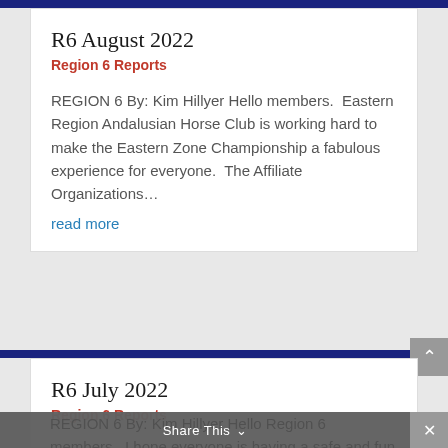R6 August 2022
Region 6 Reports
REGION 6 By: Kim Hillyer Hello members.  Eastern Region Andalusian Horse Club is working hard to make the Eastern Zone Championship a fabulous experience for everyone.  The Affiliate Organizations…
read more
R6 July 2022
Region 6 Reports
REGION 6 By: Kim Hillyer Hello Region 6 members.  I hope everyone is having a safe and fun summer with their horses and WE.  There are still plenty of